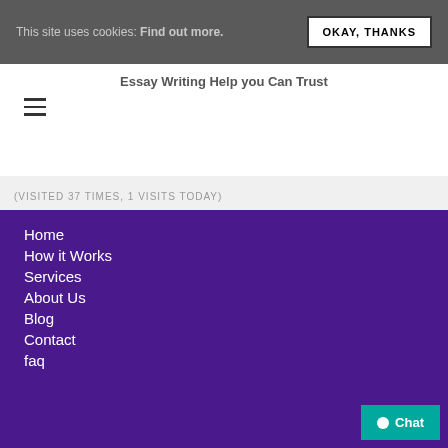This site uses cookies: Find out more. OKAY, THANKS
Essay Writing Help you Can Trust
[Figure (other): Hamburger menu icon with three horizontal lines]
(VISITED 37 TIMES, 1 VISITS TODAY)
Home
How it Works
Services
About Us
Blog
Contact
faq